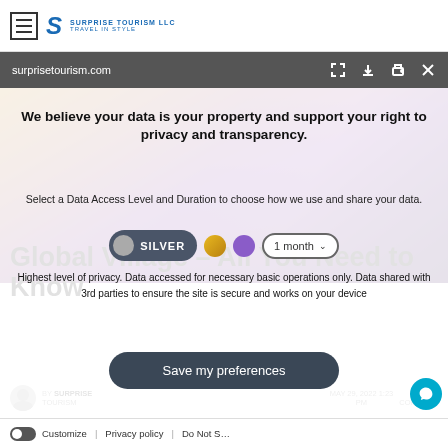Surprise Tourism LLC — Travel in Style (header with hamburger and logo)
surprisetourism.com [browser toolbar with URL and icons]
[Figure (screenshot): Background image of Global Village / colorful event venue, partially visible behind privacy overlay]
We believe your data is your property and support your right to privacy and transparency.
Select a Data Access Level and Duration to choose how we use and share your data.
[Figure (infographic): Data access level selector: Silver button selected (dark background), gold circle, purple circle, and '1 month' dropdown]
Highest level of privacy. Data accessed for necessary basic operations only. Data shared with 3rd parties to ensure the site is secure and works on your device
Save my preferences
Global Village – All You Need to Know
BY SURPRISE TOURISM   MAY 29, 2022 1:23 PM   NO COMMENT
So, you might ask 'what is Global Village?' The Global Village in Dubai is a huge multicultural theme park/market that allows you to experience different parts of the world in
Customize | Privacy policy | Do Not S…